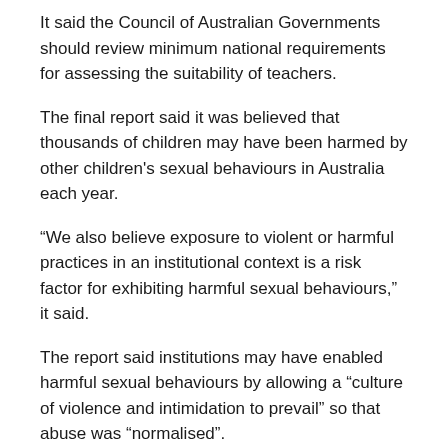It said the Council of Australian Governments should review minimum national requirements for assessing the suitability of teachers.
The final report said it was believed that thousands of children may have been harmed by other children's sexual behaviours in Australia each year.
“We also believe exposure to violent or harmful practices in an institutional context is a risk factor for exhibiting harmful sexual behaviours,” it said.
The report said institutions may have enabled harmful sexual behaviours by allowing a “culture of violence and intimidation to prevail” so that abuse was “normalised”.
– ABC
POST VIEWS (SINCE 25 APR 2022): 6